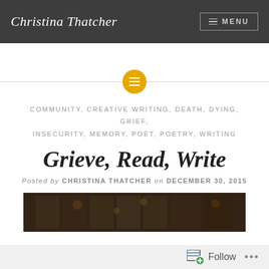Christina Thatcher
[Figure (other): Horizontal divider line with a gold/yellow circle containing a list/menu icon in the center]
COMMUNITY, CREATIVE WRITING, DEATH, DYING, GRIEF, INSECURITY, MEMORY, POET, POETRY, WRITING
Grieve, Read, Write
Posted by CHRISTINA THATCHER on DECEMBER 30, 2015
[Figure (photo): Dark interior photograph of what appears to be a building with warm ambient lighting]
Follow ...